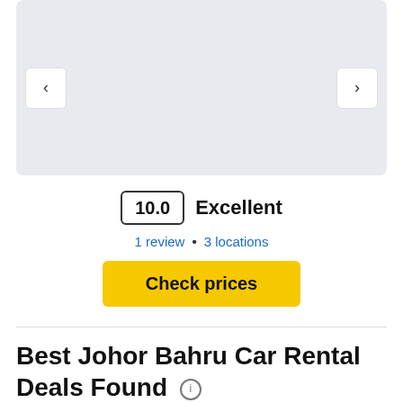[Figure (photo): Light gray image carousel placeholder with left and right navigation arrow buttons]
10.0  Excellent
1 review • 3 locations
Check prices
Best Johor Bahru Car Rental Deals Found ℹ